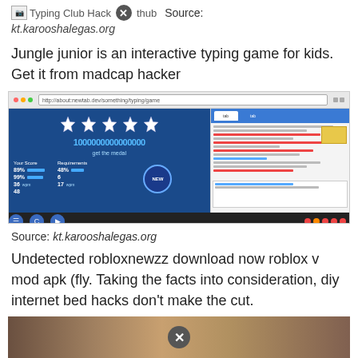Typing Club Hack thub  Source:
kt.karooshalegas.org
Jungle junior is an interactive typing game for kids. Get it from madcap hacker
[Figure (screenshot): Screenshot of a browser showing a typing game with five stars, a large score number '1000000000000000', stats panel, and a GitHub-like interface on the right side.]
Source: kt.karooshalegas.org
Undetected robloxnewzz download now roblox v mod apk (fly. Taking the facts into consideration, diy internet bed hacks don't make the cut.
[Figure (photo): Partial photo at bottom of page with a close/X button overlay.]